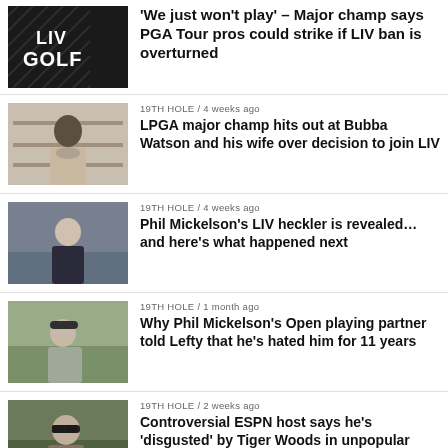[Figure (photo): LIV Golf logo on dark background]
'We just won't play' – Major champ says PGA Tour pros could strike if LIV ban is overturned
19TH HOLE / 4 weeks ago
[Figure (photo): Man in grey turtleneck in indoor setting]
LPGA major champ hits out at Bubba Watson and his wife over decision to join LIV
19TH HOLE / 4 weeks ago
[Figure (photo): Man in dark navy shirt outdoors]
Phil Mickelson's LIV heckler is revealed…and here's what happened next
19TH HOLE / 1 month ago
[Figure (photo): Man in grey jacket and cap outdoors]
Why Phil Mickelson's Open playing partner told Lefty that he's hated him for 11 years
19TH HOLE / 2 weeks ago
[Figure (photo): Man in sunglasses and plaid jacket outdoors]
Controversial ESPN host says he's 'disgusted' by Tiger Woods in unpopular rant